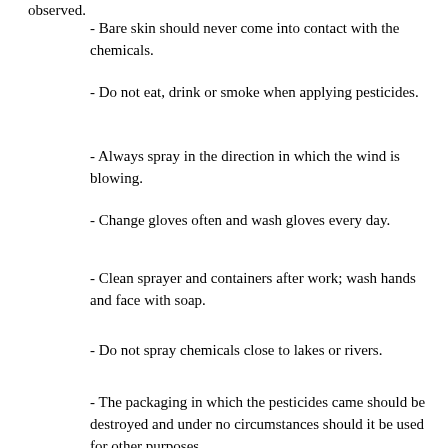observed.
- Bare skin should never come into contact with the chemicals.
- Do not eat, drink or smoke when applying pesticides.
- Always spray in the direction in which the wind is blowing.
- Change gloves often and wash gloves every day.
- Clean sprayer and containers after work; wash hands and face with soap.
- Do not spray chemicals close to lakes or rivers.
- The packaging in which the pesticides came should be destroyed and under no circumstances should it be used for other purposes.